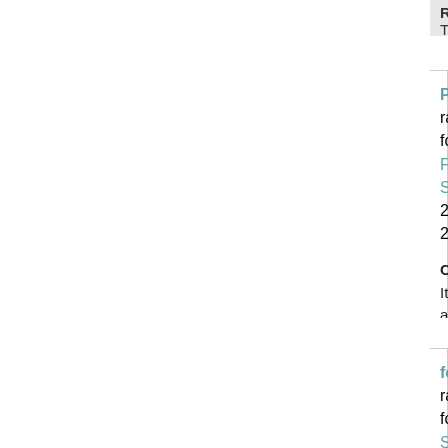Response: Thank you. ♥
Prettyexpressions rated for Friendship She... 22, 2020
Comment: It's always a pleasure to receive from y... me. Not to mention that gorgeous handwriting!! I th... my day when I open my mailbox, and i see your pr... so much for everything!
Response: This made my heart so happy to read,... midst of all this crazy. Best ♥Debbie
fortannam rated for Scripture Postcard INT...
Comment: Thank you for the fun postcard! That is...
Response: You're welcome! Hopefully you're hold... craziness? ♥Debbie
SoberMermaid3 rated for Geek of the Wee... on Jan 21, 2020
Comment: So super cool! I've always wanted a b...